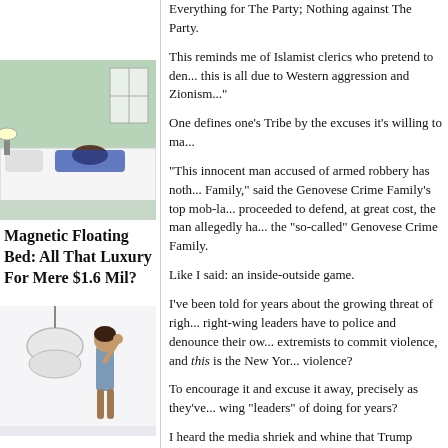Everything for The Party; Nothing against The Party.
This reminds me of Islamist clerics who pretend to den... this is all due to Western aggression and Zionism..."
One defines one's Tribe by the excuses it's willing to ma...
"This innocent man accused of armed robbery has noth... Family," said the Genovese Crime Family's top mob-la... proceeded to defend, at great cost, the man allegedly ha... the "so-called" Genovese Crime Family.
Like I said: an inside-outside game.
I've been told for years about the growing threat of righ... right-wing leaders have to police and denounce their ow... extremists to commit violence, and this is the New Yor... violence?
To encourage it and excuse it away, precisely as they've... wing "leaders" of doing for years?
I heard the media shriek and whine that Trump supporte... Tur. That was a threat to Democracy Itself, they lecture...
Now their Shock Troops are beating people in the stree... right-wingers are making up sob stories and thereby... p... downs?
When the inevitable violent reaction comes -- and it's b... me that the self-declared "elites" have never read a histo... violent movements inevitably provoke a violent coun...
[Figure (photo): Woman lying on a white floating magnetic bed reading a book, with green wall in background]
Magnetic Floating Bed: All That Luxury For Mere $1.6 Mil?
[Figure (photo): Woman in white room with hanging chair, standing with hand on head]